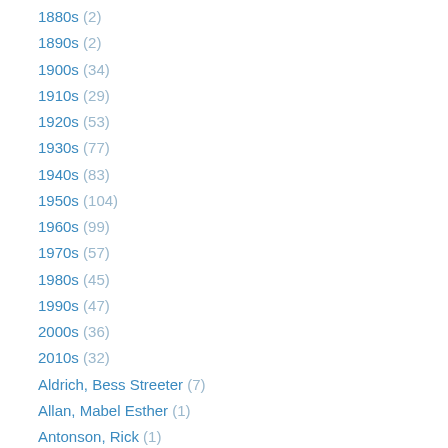1880s (2)
1890s (2)
1900s (34)
1910s (29)
1920s (53)
1930s (77)
1940s (83)
1950s (104)
1960s (99)
1970s (57)
1980s (45)
1990s (47)
2000s (36)
2010s (32)
Aldrich, Bess Streeter (7)
Allan, Mabel Esther (1)
Antonson, Rick (1)
Ardizzone, Edward (2)
Arkell, Reginald (2)
Armitage, Ethel (2)